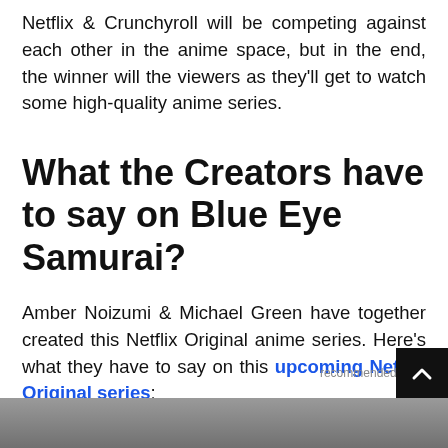Netflix & Crunchyroll will be competing against each other in the anime space, but in the end, the winner will the viewers as they'll get to watch some high-quality anime series.
What the Creators have to say on Blue Eye Samurai?
Amber Noizumi & Michael Green have together created this Netflix Original anime series. Here's what they have to say on this upcoming Netflix Original series:
[Figure (photo): Partial photo of a person visible at the bottom of the page, greyed out image strip]